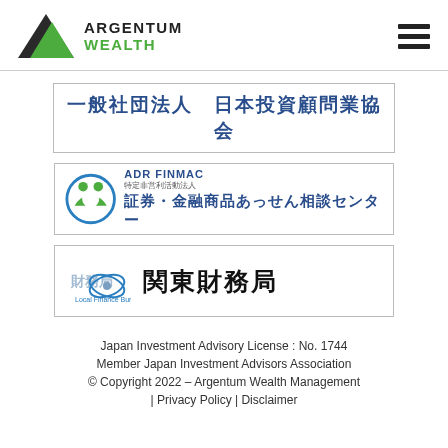[Figure (logo): Argentum Wealth logo: dark triangle with green overlay and text 'ARGENTUM WEALTH']
[Figure (logo): Hamburger menu icon (three horizontal bars)]
[Figure (logo): Badge 1: 一般社団法人 日本投資顧問業協会 (Japan Investment Advisors Association)]
[Figure (logo): Badge 2: ADR FINMAC 証券・金融商品あっせん相談センター logo]
[Figure (logo): Badge 3: 関東財務局 (Kanto Finance Bureau) logo]
Japan Investment Advisory License : No. 1744
Member Japan Investment Advisors Association
© Copyright 2022 – Argentum Wealth Management
| Privacy Policy | Disclaimer